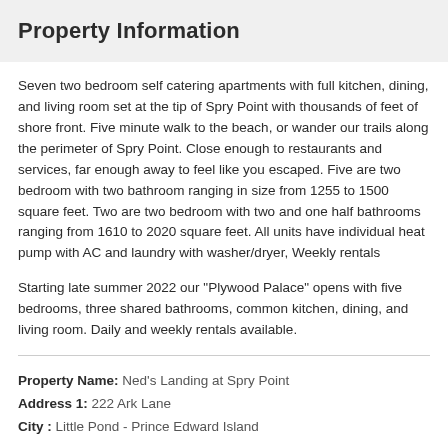Property Information
Seven two bedroom self catering apartments with full kitchen, dining, and living room set at the tip of Spry Point with thousands of feet of shore front. Five minute walk to the beach, or wander our trails along the perimeter of Spry Point. Close enough to restaurants and services, far enough away to feel like you escaped. Five are two bedroom with two bathroom ranging in size from 1255 to 1500 square feet. Two are two bedroom with two and one half bathrooms ranging from 1610 to 2020 square feet. All units have individual heat pump with AC and laundry with washer/dryer, Weekly rentals
Starting late summer 2022 our "Plywood Palace" opens with five bedrooms, three shared bathrooms, common kitchen, dining, and living room. Daily and weekly rentals available.
Property Name: Ned's Landing at Spry Point
Address 1: 222 Ark Lane
City : Little Pond - Prince Edward Island